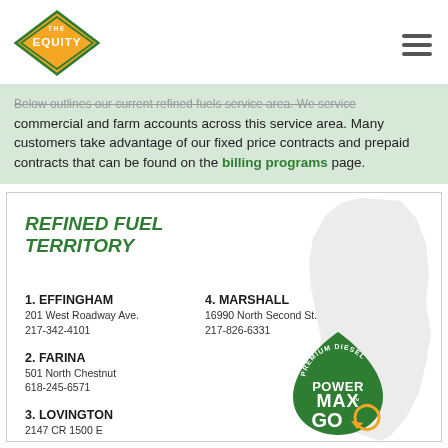[Figure (logo): The Equity logo - orange diamond shape with green border and white text]
Below outlines our current refined fuels service area. We service commercial and farm accounts across this service area. Many customers take advantage of our fixed price contracts and prepaid contracts that can be found on the billing programs page.
[Figure (infographic): Refined Fuel Territory map card showing Illinois state silhouette with 4 location listings: 1. Effingham - 201 West Roadway Ave., 217-342-4101; 2. Farina - 501 North Chestnut, 618-245-6571; 3. Lovington - 2147 CR 1500 E, 217-543-3467; 4. Marshall - 16990 North Second St., 217-826-6331. PowerMax GO Premium Diesel logo in lower right.]